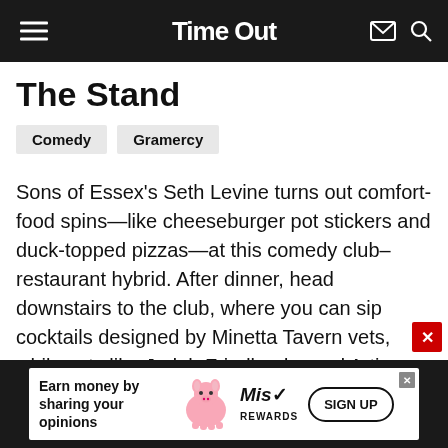TimeOut
The Stand
Comedy
Gramercy
Sons of Essex’s Seth Levine turns out comfort-food spins—like cheeseburger pot stickers and duck-topped pizzas—at this comedy club–restaurant hybrid. After dinner, head downstairs to the club, where you can sip cocktails designed by Minetta Tavern vets, while acts like Judah Friedlander and Artie Lange supply the belly laughs. Test your stand-up knowledge and try to name all the comedians on the wallpaper in the bathrooms
[Figure (infographic): Advertisement banner: Earn money by sharing your opinions. Mist Rewards pig logo. SIGN UP button.]